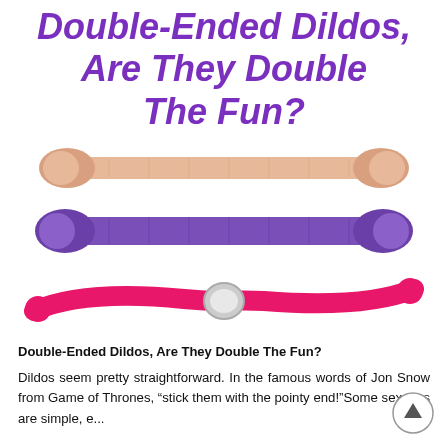Double-Ended Dildos, Are They Double The Fun?
[Figure (photo): Three double-ended dildos shown horizontally: top one is skin/beige colored, middle one is purple, bottom one is hot pink with a silver ring in the center.]
Double-Ended Dildos, Are They Double The Fun?
Dildos seem pretty straightforward. In the famous words of Jon Snow from Game of Thrones, “stick them with the pointy end!”Some sex toys are simple, e...